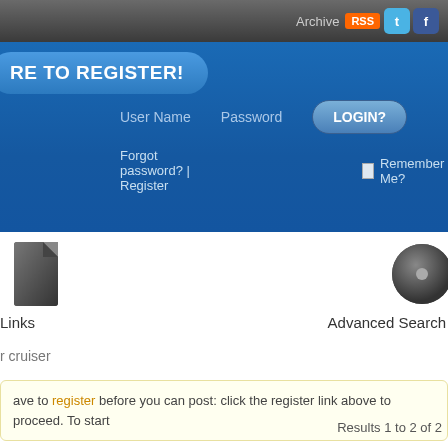Archive RSS [twitter] [facebook]
RE TO REGISTER!
User Name   Password   LOGIN?
Forgot password? | Register   Remember Me?
[Figure (screenshot): Dark icon for Links section on left]
Links
[Figure (screenshot): Dark icon for Advanced Search on right]
Advanced Search
r cruiser
ave to register before you can post: click the register link above to proceed. To start
Results 1 to 2 of 2